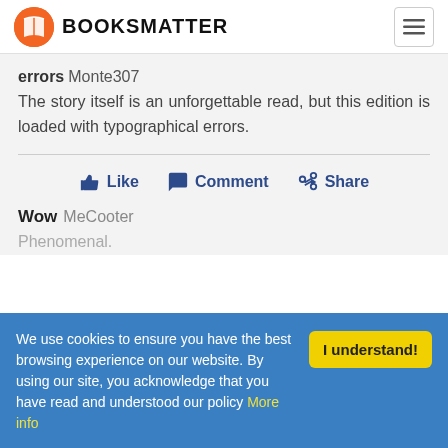BOOKSMATTER
errors Monte307
The story itself is an unforgettable read, but this edition is loaded with typographical errors.
Like  Comment  Share
Wow MeCooter
Phenomenal.
We use cookies to ensure you have the best browsing experience on our website. By using our site, you acknowledge that you have read and understood our policy More info